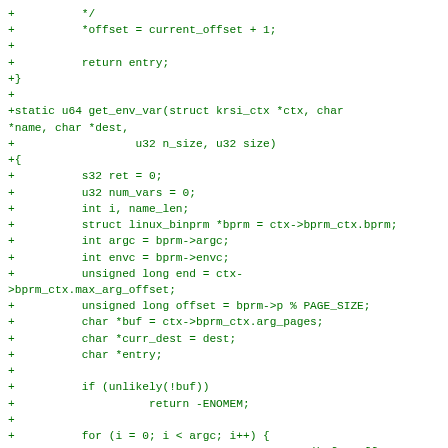Code diff showing get_env_var function implementation in C